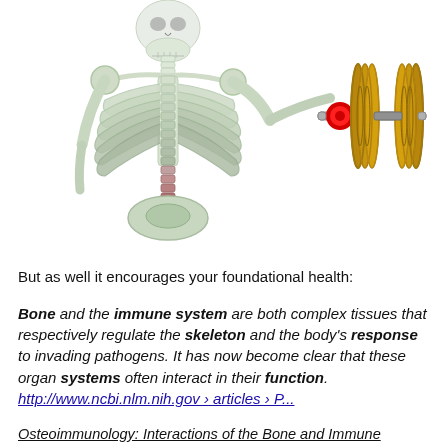[Figure (illustration): Illustration of a human skeleton (upper body) lifting a dumbbell with gold/bronze weight plates and a red center hub, on a white background.]
But as well it encourages your foundational health:
Bone and the immune system are both complex tissues that respectively regulate the skeleton and the body's response to invading pathogens. It has now become clear that these organ systems often interact in their function. http://www.ncbi.nlm.nih.gov › articles › P... Osteoimmunology: Interactions of the Bone and Immune